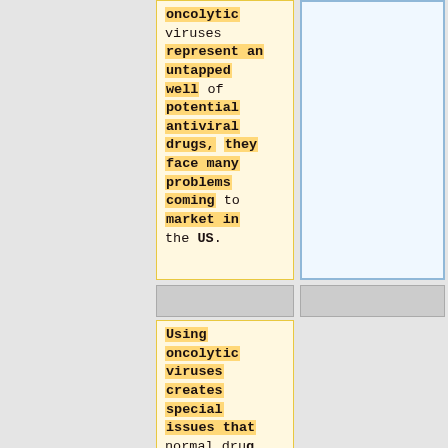oncolytic viruses represent an untapped well of potential antiviral drugs, they face many problems coming to market in the US.
Using oncolytic viruses creates special issues that normal drug